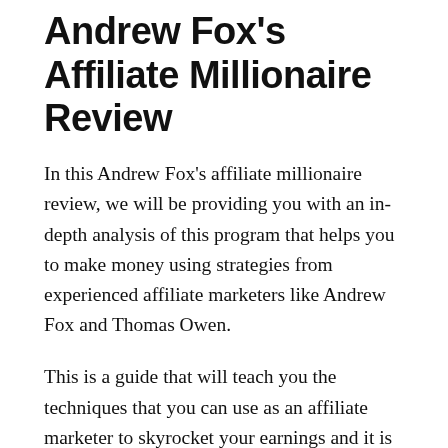Andrew Fox's Affiliate Millionaire Review
In this Andrew Fox's affiliate millionaire review, we will be providing you with an in-depth analysis of this program that helps you to make money using strategies from experienced affiliate marketers like Andrew Fox and Thomas Owen.
This is a guide that will teach you the techniques that you can use as an affiliate marketer to skyrocket your earnings and it is also useful for those who are new to this field and want to learn the methods using which they can create a steady flow of income. The